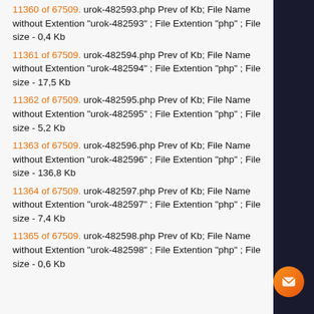11360 of 67509. urok-482593.php Prev of Kb; File Name without Extention "urok-482593" ; File Extention "php" ; File size - 0,4 Kb
11361 of 67509. urok-482594.php Prev of Kb; File Name without Extention "urok-482594" ; File Extention "php" ; File size - 17,5 Kb
11362 of 67509. urok-482595.php Prev of Kb; File Name without Extention "urok-482595" ; File Extention "php" ; File size - 5,2 Kb
11363 of 67509. urok-482596.php Prev of Kb; File Name without Extention "urok-482596" ; File Extention "php" ; File size - 136,8 Kb
11364 of 67509. urok-482597.php Prev of Kb; File Name without Extention "urok-482597" ; File Extention "php" ; File size - 7,4 Kb
11365 of 67509. urok-482598.php Prev of Kb; File Name without Extention "urok-482598" ; File Extention "php" ; File size - 0,6 Kb